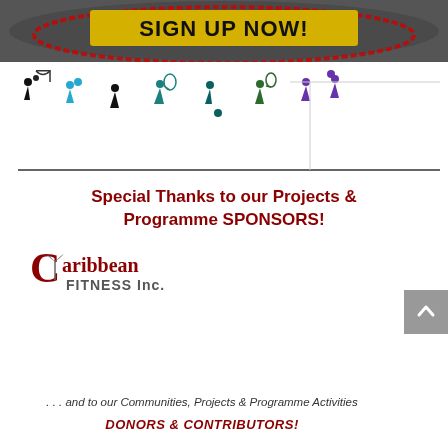[Figure (infographic): Dark oval banner with yellow 'SIGN UP NOW!' button and red oval outline decoration]
[Figure (illustration): Colorful silhouettes of athletes playing various sports: basketball, bowling, table tennis, tennis, football, badminton, and volleyball, arranged in a horizontal row above a baseline]
Special Thanks to our Projects & Programme SPONSORS!
[Figure (logo): Caribbean Fitness Inc. logo with stylized C and palm tree motif]
. . . and to our Communities, Projects & Programme Activities
DONORS & CONTRIBUTORS!